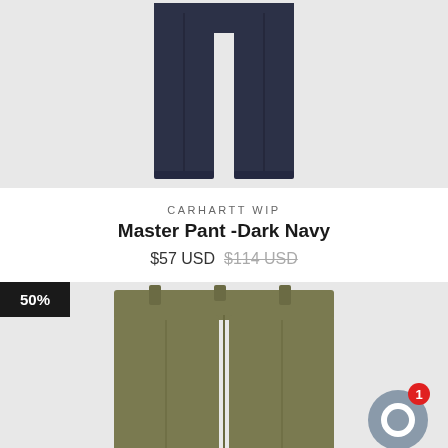[Figure (photo): Dark navy pants product photo on light grey background, showing lower half of trousers]
CARHARTT WIP
Master Pant -Dark Navy
$57 USD $114 USD
[Figure (photo): Olive/khaki shorts product photo on light grey background with 50% discount badge and chat widget overlay]